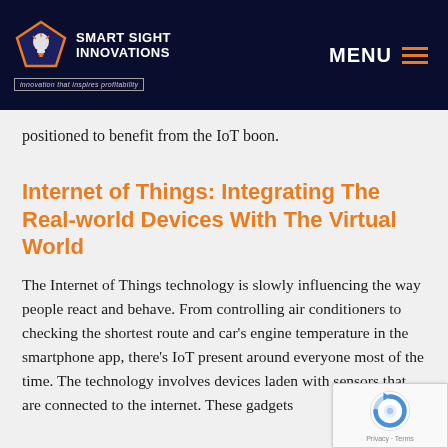Smart Sight Innovations — Innovation that inspires profitability | MENU
positioned to benefit from the IoT boon.
Internet of Things: Integrating The Real-world Devices With The Virtual World
The Internet of Things technology is slowly influencing the way people react and behave. From controlling air conditioners to checking the shortest route and car's engine temperature in the smartphone app, there's IoT present around everyone most of the time. The technology involves devices laden with sensors that are connected to the internet. These gadgets